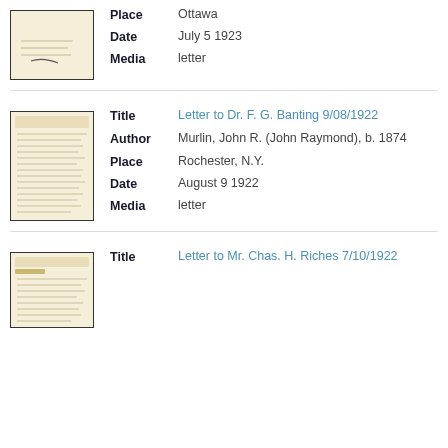Place: Ottawa
Date: July 5 1923
Media: letter
Title: Letter to Dr. F. G. Banting 9/08/1922
Author: Murlin, John R. (John Raymond), b. 1874
Place: Rochester, N.Y.
Date: August 9 1922
Media: letter
Title: Letter to Mr. Chas. H. Riches 7/10/1922